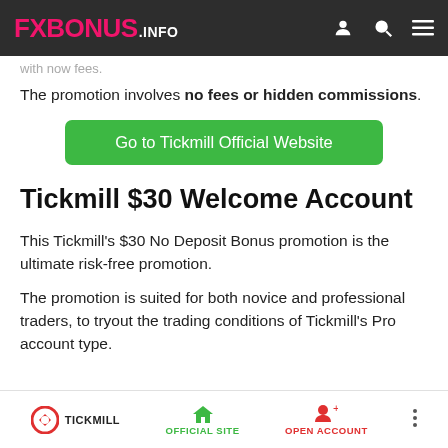FXBONUS.INFO
with now fees.
The promotion involves no fees or hidden commissions.
[Figure (other): Green button: Go to Tickmill Official Website]
Tickmill $30 Welcome Account
This Tickmill's $30 No Deposit Bonus promotion is the ultimate risk-free promotion.
The promotion is suited for both novice and professional traders, to tryout the trading conditions of Tickmill's Pro account type.
TICKMILL | OFFICIAL SITE | OPEN ACCOUNT